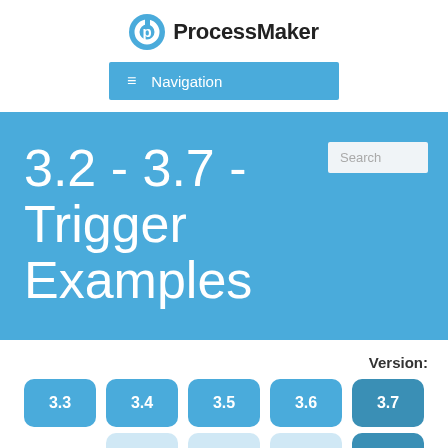[Figure (logo): ProcessMaker logo with circular P icon and bold text 'ProcessMaker']
[Figure (screenshot): Navigation bar with hamburger icon and 'Navigation' text on blue background]
3.2 - 3.7 - Trigger Examples
Version:
3.3  3.4  3.5  3.6  3.7  2.x  3.0  3.1  3.2